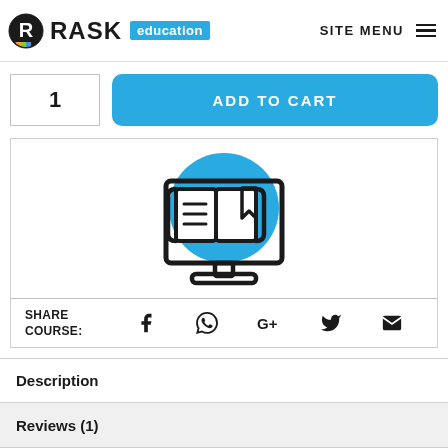RASK education | SITE MENU
1
ADD TO CART
[Figure (illustration): Online education icon: a computer monitor displaying an open book with a bookmark, set against a blue circle background]
SHARE COURSE:
Description
Reviews (1)